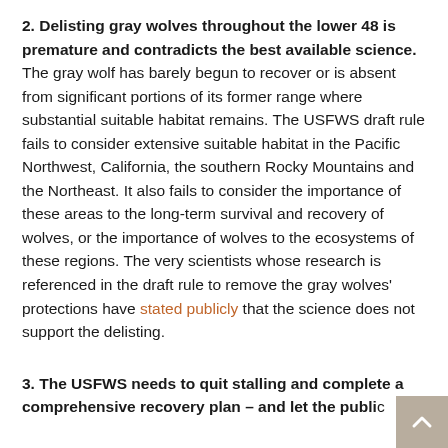2. Delisting gray wolves throughout the lower 48 is premature and contradicts the best available science. The gray wolf has barely begun to recover or is absent from significant portions of its former range where substantial suitable habitat remains. The USFWS draft rule fails to consider extensive suitable habitat in the Pacific Northwest, California, the southern Rocky Mountains and the Northeast. It also fails to consider the importance of these areas to the long-term survival and recovery of wolves, or the importance of wolves to the ecosystems of these regions. The very scientists whose research is referenced in the draft rule to remove the gray wolves' protections have stated publicly that the science does not support the delisting.
3. The USFWS needs to quit stalling and complete a comprehensive recovery plan – and let the public